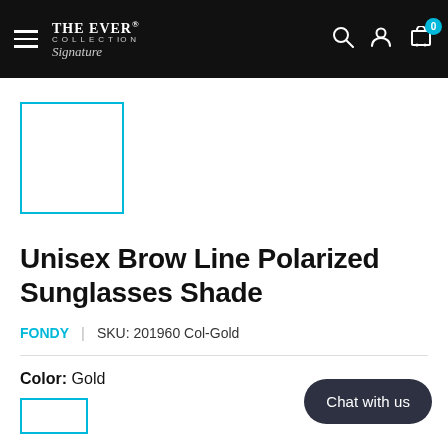THE EVER COLLECTION Signature — navigation bar with hamburger menu, search, account, and cart icons
[Figure (photo): Product thumbnail image placeholder with cyan/teal border, white background]
Unisex Brow Line Polarized Sunglasses Shade
FONDY | SKU: 201960 Col-Gold
Color: Gold
[Figure (other): Color swatch selector with cyan border placeholder box]